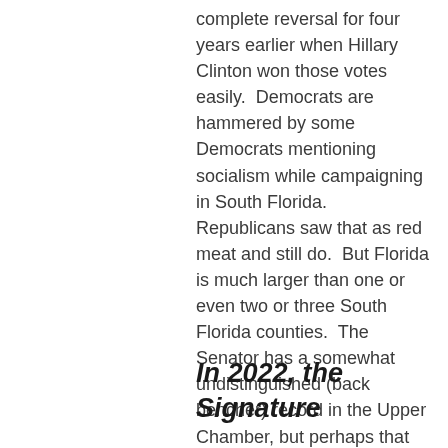complete reversal for four years earlier when Hillary Clinton won those votes easily.  Democrats are hammered by some Democrats mentioning socialism while campaigning in South Florida.  Republicans saw that as red meat and still do.  But Florida is much larger than one or even two or three South Florida counties.  The Senator has a somewhat undistinguished (back bencher) record in the Upper Chamber, but perhaps that should be expected with a heavy partisan grip on the Senate by the GOP.  Maybe Senator Taddeo is getting ready for a run in 2024, as she has run statewide before and lost.
In 2022, the Signature